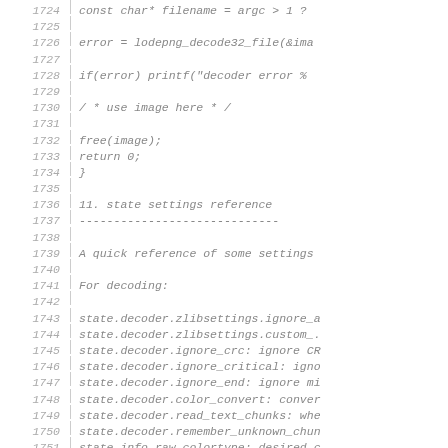Source code listing lines 1724–1753 from a C/PNG library (lodepng), showing code and documentation comments about state settings reference for decoding.